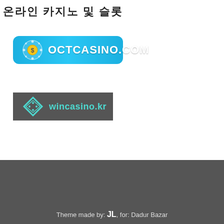온라인 카지노 및 슬롯
[Figure (logo): OCTCASINO.COM logo — blue rounded rectangle with casino chip icon and white bold text]
[Figure (logo): wincasino.kr logo — dark grey rectangle with teal diamond/dice icon and teal text]
Theme made by: JL, for: Dadur Bazar